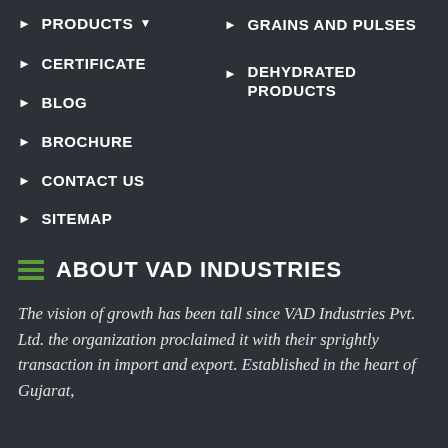PRODUCTS
GRAINS AND PULSES
CERTIFICATE
DEHYDRATED PRODUCTS
BLOG
BROCHURE
CONTACT US
SITEMAP
ABOUT VAD INDUSTRIES
The vision of growth has been tall since VAD Industries Pvt. Ltd. the organization proclaimed it with their sprightly transaction in import and export. Established in the heart of Gujarat,